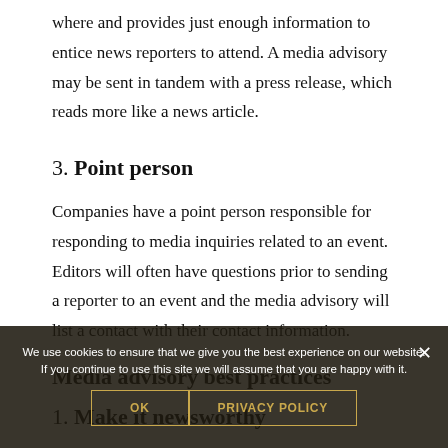where and provides just enough information to entice news reporters to attend. A media advisory may be sent in tandem with a press release, which reads more like a news article.
3. Point person
Companies have a point person responsible for responding to media inquiries related to an event. Editors will often have questions prior to sending a reporter to an event and the media advisory will list a contact with their contact information.
Media advisory best practices
1. Make it newsworthy